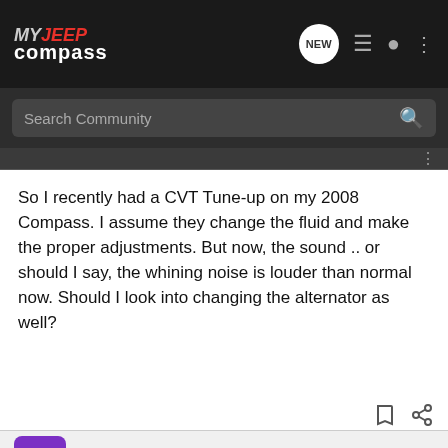MY JEEP compass
Search Community
So I recently had a CVT Tune-up on my 2008 Compass. I assume they change the fluid and make the proper adjustments. But now, the sound .. or should I say, the whining noise is louder than normal now. Should I look into changing the alternator as well?
LT2112 · Registered
[Figure (screenshot): Nitto Tires advertisement banner: ALL-NEW NOMAD GRAPPLER CROSSOVER-TERRAIN TIRE with tire imagery]
#17 · Ma...